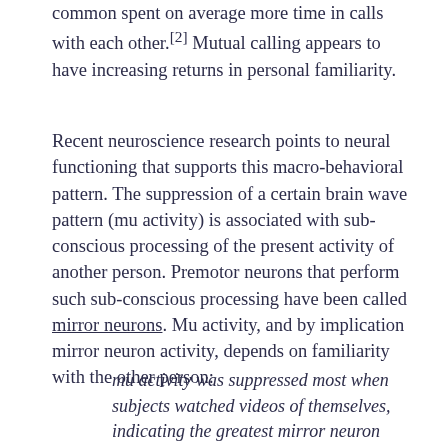common spent on average more time in calls with each other.[2] Mutual calling appears to have increasing returns in personal familiarity.
Recent neuroscience research points to neural functioning that supports this macro-behavioral pattern. The suppression of a certain brain wave pattern (mu activity) is associated with sub-conscious processing of the present activity of another person. Premotor neurons that perform such sub-conscious processing have been called mirror neurons. Mu activity, and by implication mirror neuron activity, depends on familiarity with the other person:
mu activity was suppressed most when subjects watched videos of themselves, indicating the greatest mirror neuron activity. For both groups [autistic and non-autistic children], the